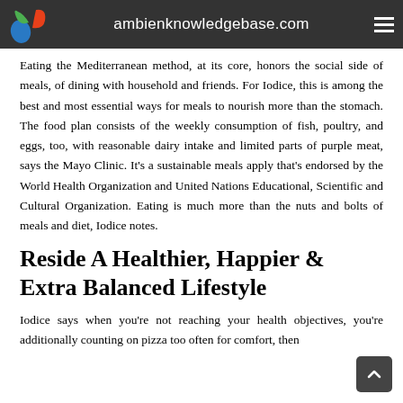ambienknowledgebase.com
Eating the Mediterranean method, at its core, honors the social side of meals, of dining with household and friends. For Iodice, this is among the best and most essential ways for meals to nourish more than the stomach. The food plan consists of the weekly consumption of fish, poultry, and eggs, too, with reasonable dairy intake and limited parts of purple meat, says the Mayo Clinic. It’s a sustainable meals apply that’s endorsed by the World Health Organization and United Nations Educational, Scientific and Cultural Organization. Eating is much more than the nuts and bolts of meals and diet, Iodice notes.
Reside A Healthier, Happier & Extra Balanced Lifestyle
Iodice says when you’re not reaching your health objectives, you’re additionally counting on pizza too often for comfort, then